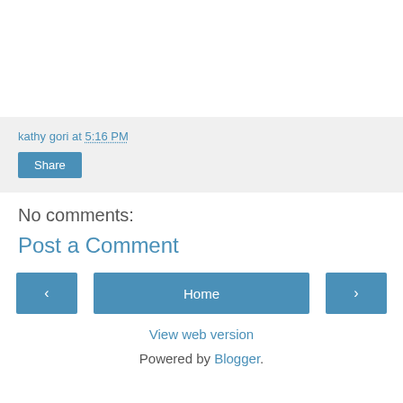kathy gori at 5:16 PM
Share
No comments:
Post a Comment
‹
Home
›
View web version
Powered by Blogger.